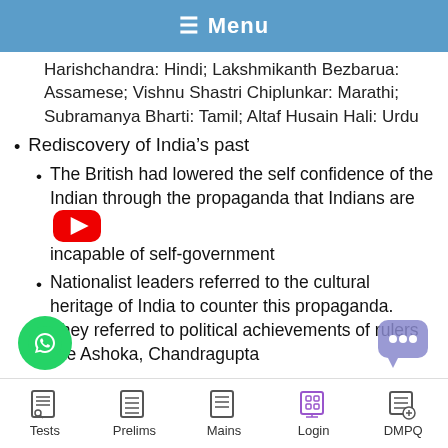☰ Menu
Harishchandra: Hindi; Lakshmikanth Bezbarua: Assamese; Vishnu Shastri Chiplunkar: Marathi; Subramanya Bharti: Tamil; Altaf Husain Hali: Urdu
Rediscovery of India's past
The British had lowered the self confidence of the Indian through the propaganda that Indians are incapable of self-government
Nationalist leaders referred to the cultural heritage of India to counter this propaganda. They referred to political achievements of rulers like Ashoka, Chandragupta
Tests  Prelims  Mains  Login  DMPQ